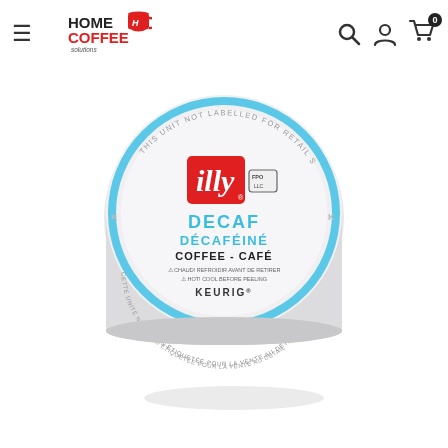Home Coffee Solutions — navigation header with logo, hamburger menu, search, account, and cart icons
[Figure (photo): An illy brand Keurig K-Cup pod for Decaf / Décaféiné Coffee - Café. The top of the round pod is white with a light blue ring border. The illy logo appears in white italic script on a red square. Text on the pod reads: DECAF / DÉCAFÉINÉ / COFFEE - CAFÉ / CHAUD! REFROIDIR AVANT DE RETIRER / HOT! COOL BEFORE PEELING / KEURIG. Circular outer text reads: THIS UNIT NOT LABELLED FOR RETAIL SALE / CETTE UNITÉ N'EST PAS ÉTIQUETÉE POUR LA VENTE AU DÉTAIL. K markers appear on the left and right sides. An FPO certification badge appears to the right of the illy logo.]